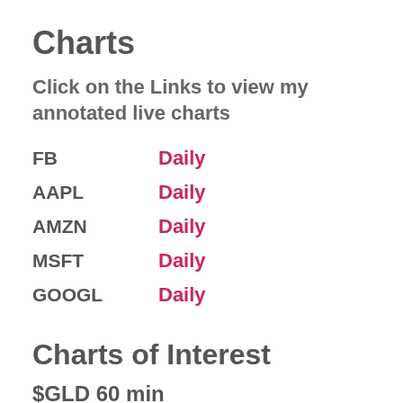Charts
Click on the Links to view my annotated live charts
FB    Daily
AAPL    Daily
AMZN    Daily
MSFT    Daily
GOOGL    Daily
Charts of Interest
$GLD 60 min